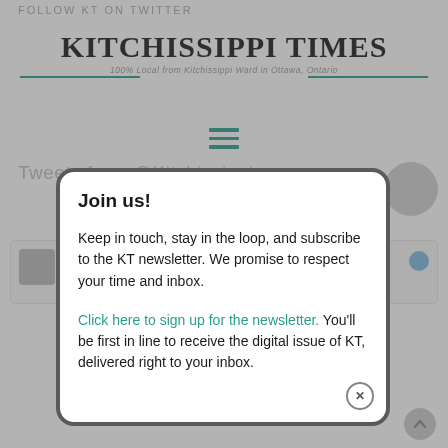FOLLOW KT ON TWITTER
[Figure (logo): Kitchissippi Times newspaper logo with tagline '100% Local from Kitchissippi Word in Ottawa, Ontario']
Tweets from @KitchissippiTimes
Join us!
Keep in touch, stay in the loop, and subscribe to the KT newsletter. We promise to respect your time and inbox.
Click here to sign up for the newsletter. You'll be first in line to receive the digital issue of KT, delivered right to your inbox.
...and live music from Thomas Brawn! 🎵
See you there?